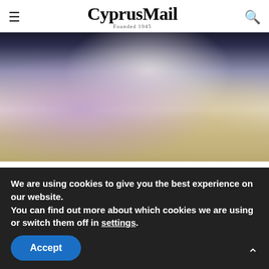CyprusMail — Founded 1945
[Figure (photo): Person in white outfit seated in a dark chair in a casino-style room with patterned carpet]
Casinos Don't Want You to Do This; but They Can't Stop You
BuzzDaily Winners
[Figure (photo): Partial view of a person's face/hair, bottom of page]
We are using cookies to give you the best experience on our website.
You can find out more about which cookies we are using or switch them off in settings.